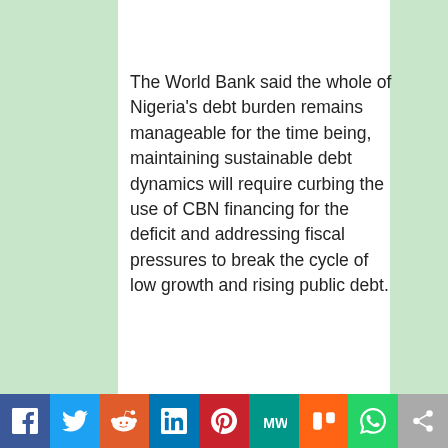The World Bank said the whole of Nigeria's debt burden remains manageable for the time being, maintaining sustainable debt dynamics will require curbing the use of CBN financing for the deficit and addressing fiscal pressures to break the cycle of low growth and rising public debt.
What the World Bank is saying
The primary macroeconomic challenges disturbing growth, according to the World Bank, are issues around the predictability and credibility of exchange-rate